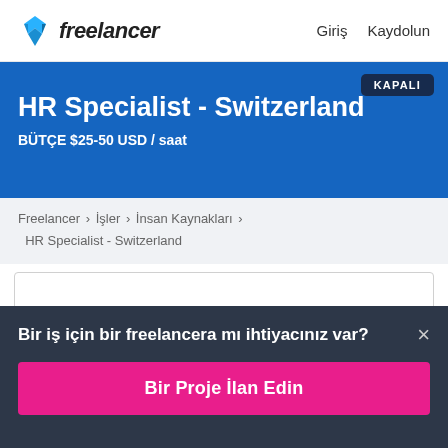Freelancer  Giriş  Kaydolun
HR Specialist - Switzerland
BÜTÇE $25-50 USD / saat
KAPALI
Freelancer › İşler › İnsan Kaynakları › HR Specialist - Switzerland
Bir iş için bir freelancera mı ihtiyacınız var? ×
Bir Proje İlan Edin